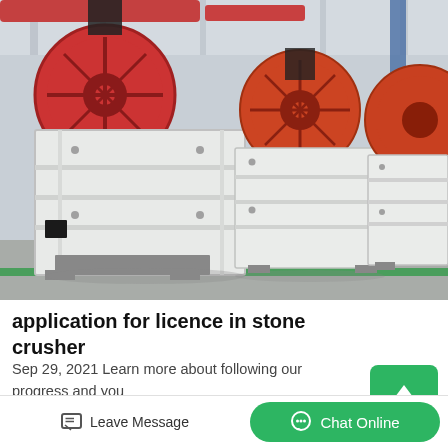[Figure (photo): Industrial jaw crusher machines in a factory/warehouse setting. Multiple large white and red/orange jaw crushers lined up on a factory floor with industrial ceiling and support structures visible.]
application for licence in stone crusher
Sep 29, 2021 Learn more about following our progress and your options for participating as we review applications for plants